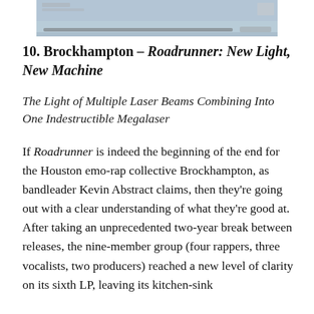[Figure (photo): Partial view of a cropped photo at the top of the page, showing what appears to be a landscape or album artwork image with a horizontal progress/slider bar along the bottom edge.]
10. Brockhampton – Roadrunner: New Light, New Machine
The Light of Multiple Laser Beams Combining Into One Indestructible Megalaser
If Roadrunner is indeed the beginning of the end for the Houston emo-rap collective Brockhampton, as bandleader Kevin Abstract claims, then they're going out with a clear understanding of what they're good at. After taking an unprecedented two-year break between releases, the nine-member group (four rappers, three vocalists, two producers) reached a new level of clarity on its sixth LP, leaving its kitchen-sink aesthetic more polished in favor of a focused,